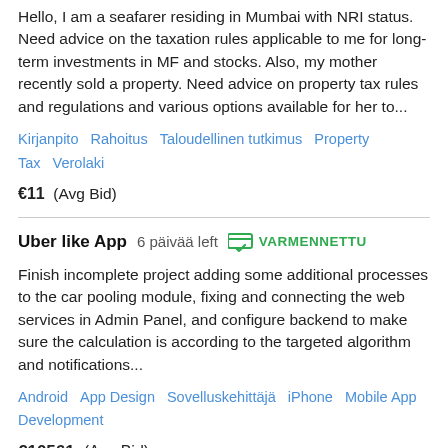Hello, I am a seafarer residing in Mumbai with NRI status. Need advice on the taxation rules applicable to me for long-term investments in MF and stocks. Also, my mother recently sold a property. Need advice on property tax rules and regulations and various options available for her to...
Kirjanpito   Rahoitus   Taloudellinen tutkimus   Property Tax   Verolaki
€11  (Avg Bid)
Uber like App   6 päivää left   VARMENNETTU
Finish incomplete project adding some additional processes to the car pooling module, fixing and connecting the web services in Admin Panel, and configure backend to make sure the calculation is according to the targeted algorithm and notifications...
Android   App Design   Sovelluskehittäjä   iPhone   Mobile App Development
€10561  (Avg Bid)